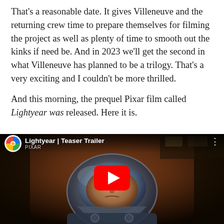That's a reasonable date. It gives Villeneuve and the returning crew time to prepare themselves for filming the project as well as plenty of time to smooth out the kinks if need be. And in 2023 we'll get the second in what Villeneuve has planned to be a trilogy. That's a very exciting and I couldn't be more thrilled.

And this morning, the prequel Pixar film called Lightyear was released. Here it is.
[Figure (screenshot): YouTube video embed showing Lightyear Teaser Trailer with Buzz Lightyear in a space helmet, with a red YouTube play button in the center]